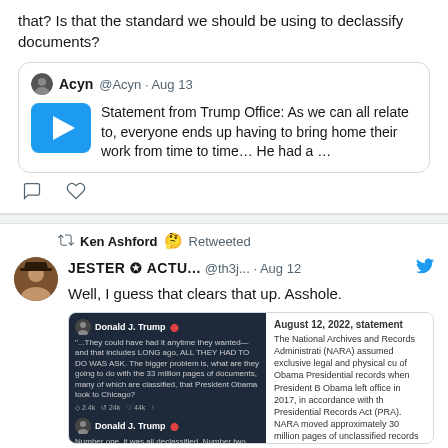that? Is that the standard we should be using to declassify documents?
[Figure (screenshot): Quoted tweet from Acyn @Acyn · Aug 13 with a play button thumbnail and text: Statement from Trump Office: As we can all relate to, everyone ends up having to bring home their work from time to time… He had a …]
Ken Ashford 🤔 Retweeted
JESTER ✪ ΑCTU... @th3j... · Aug 12
Well, I guess that clears that up. Asshole.
[Figure (screenshot): Embedded image showing two Trump tweets on dark background on the left, and on the right: August 12, 2022, statement — The National Archives and Records Administration (NARA) assumed exclusive legal and physical custody of Obama Presidential records when President Barack Obama left office in 2017, in accordance with the Presidential Records Act (PRA). NARA moved approximately 30 million pages of unclassified records to a NARA facility in the Chicago area where they are maintained exclusively by NARA. Additionally, NARA maintains the classified Obama Presidential records in a NARA facility in the]